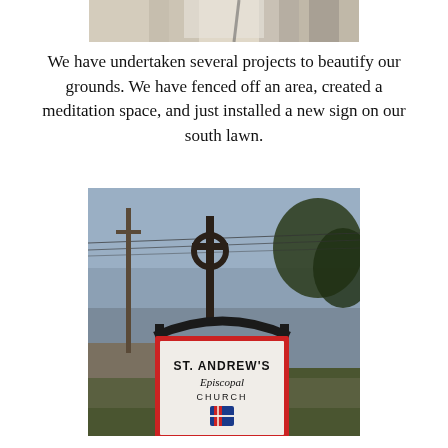[Figure (photo): Partial photo of people, cropped at top of page]
We have undertaken several projects to beautify our grounds. We have fenced off an area, created a meditation space, and just installed a new sign on our south lawn.
[Figure (photo): Outdoor photo of a church sign reading ST. ANDREW'S Episcopal CHURCH with Episcopal shield logo, with a Celtic cross visible in the background against an evening sky]